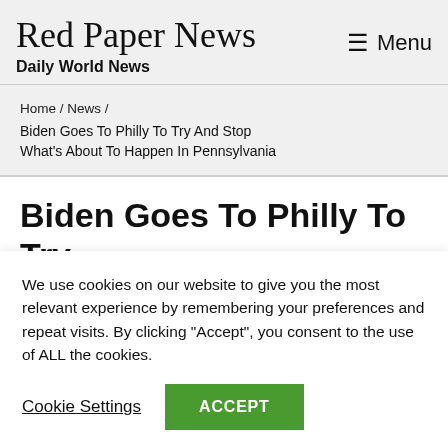Red Paper News / Daily World News / Menu
Home / News / Biden Goes To Philly To Try And Stop What's About To Happen In Pennsylvania
Biden Goes To Philly To Try And Stop What's About To
We use cookies on our website to give you the most relevant experience by remembering your preferences and repeat visits. By clicking "Accept", you consent to the use of ALL the cookies.
Cookie Settings  ACCEPT